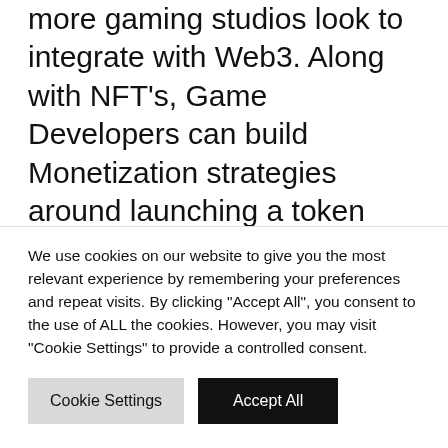more gaming studios look to integrate with Web3. Along with NFT's, Game Developers can build Monetization strategies around launching a token connected to a network of validators and nodes powering the transactions in their game, a revenue model that is just starting to take shape this year with studios like Gala Games. Ankr looks to keep providing additional features for the future of GameFi, evolving their
We use cookies on our website to give you the most relevant experience by remembering your preferences and repeat visits. By clicking "Accept All", you consent to the use of ALL the cookies. However, you may visit "Cookie Settings" to provide a controlled consent.
Read our Cookie Statement